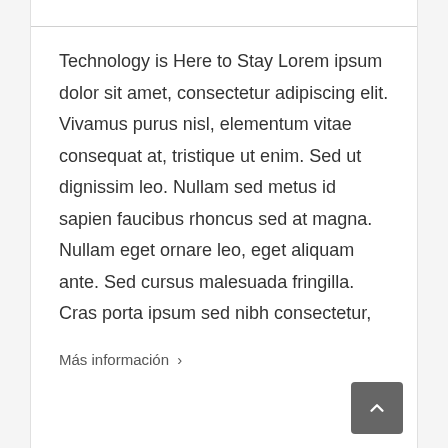Technology is Here to Stay Lorem ipsum dolor sit amet, consectetur adipiscing elit. Vivamus purus nisl, elementum vitae consequat at, tristique ut enim. Sed ut dignissim leo. Nullam sed metus id sapien faucibus rhoncus sed at magna. Nullam eget ornare leo, eget aliquam ante. Sed cursus malesuada fringilla. Cras porta ipsum sed nibh consectetur,
Más información >